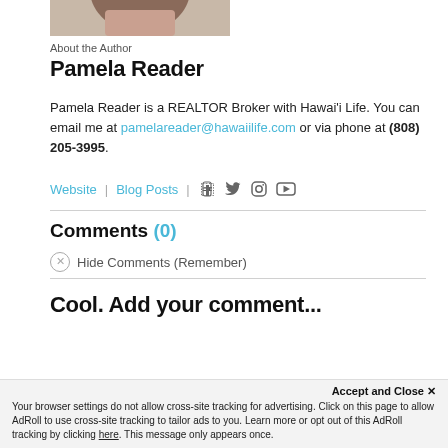[Figure (photo): Partial photo of a person with dark hair, cropped at the top]
About the Author
Pamela Reader
Pamela Reader is a REALTOR Broker with Hawai'i Life. You can email me at pamelareader@hawaiilife.com or via phone at (808) 205-3995.
Website | Blog Posts | [social icons: Facebook, Twitter, Instagram, YouTube]
Comments (0)
Hide Comments (Remember)
Cool. Add your comment...
Accept and Close ✕
Your browser settings do not allow cross-site tracking for advertising. Click on this page to allow AdRoll to use cross-site tracking to tailor ads to you. Learn more or opt out of this AdRoll tracking by clicking here. This message only appears once.